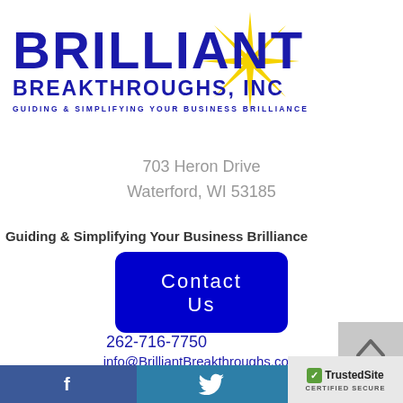[Figure (logo): Brilliant Breakthroughs, Inc logo with blue bold text and yellow star graphic. Tagline: GUIDING & SIMPLIFYING YOUR BUSINESS BRILLIANCE]
703 Heron Drive
Waterford, WI 53185
Guiding & Simplifying Your Business Brilliance
Contact Us
262-716-7750
info@BrilliantBreakthroughs.com
Facebook | Twitter | TrustedSite CERTIFIED SECURE